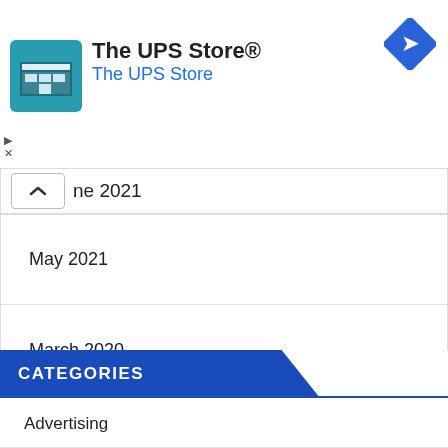[Figure (screenshot): The UPS Store advertisement banner with logo image, title 'The UPS Store®', subtitle 'The UPS Store', a blue diamond-shaped arrow icon, and ad controls (play/close icons).]
ne 2021
May 2021
March 2020
CATEGORIES
Advertising
Affiliate Marketing